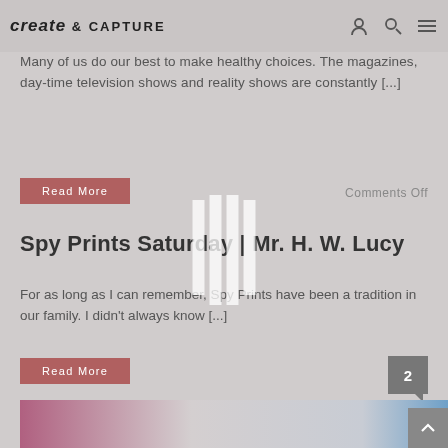create & capture
Many of us do our best to make healthy choices.  The magazines, day-time television shows and reality shows are constantly [...]
Read More
Comments Off
Spy Prints Saturday | Mr. H. W. Lucy
For as long as I can remember, Spy Prints have been a tradition in our family.  I didn't always know [...]
Read More
[Figure (photo): Bottom strip showing partial photo with purple, neutral, and blue tones]